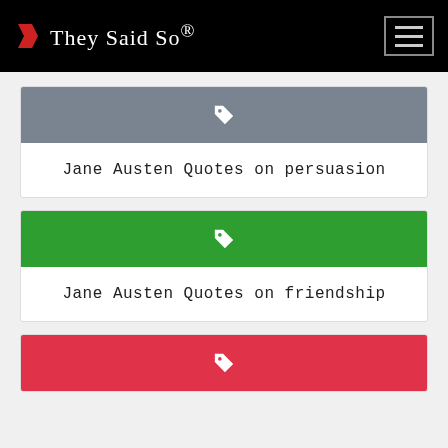They Said So®
[Figure (illustration): Tag icon on gray banner for first card]
Jane Austen Quotes on persuasion
[Figure (illustration): Tag icon on green banner for second card]
Jane Austen Quotes on friendship
[Figure (illustration): Tag icon on red banner for third card (partially visible)]